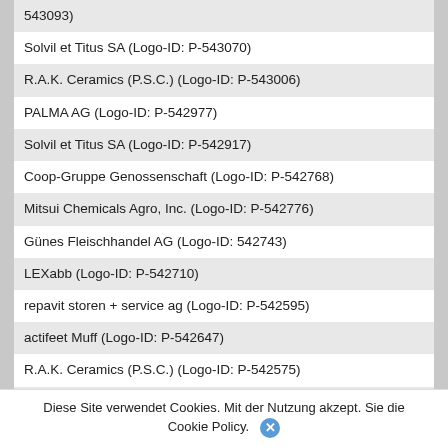543093)
Solvil et Titus SA (Logo-ID: P-543070)
R.A.K. Ceramics (P.S.C.) (Logo-ID: P-543006)
PALMA AG (Logo-ID: P-542977)
Solvil et Titus SA (Logo-ID: P-542917)
Coop-Gruppe Genossenschaft (Logo-ID: P-542768)
Mitsui Chemicals Agro, Inc. (Logo-ID: P-542776)
Günes Fleischhandel AG (Logo-ID: 542743)
LEXabb (Logo-ID: P-542710)
repavit storen + service ag (Logo-ID: P-542595)
actifeet Muff (Logo-ID: P-542647)
R.A.K. Ceramics (P.S.C.) (Logo-ID: P-542575)
IBSA INSTITUT BIOCHIMIQUE S.A. (Logo-ID: P-
Diese Site verwendet Cookies. Mit der Nutzung akzept. Sie die Cookie Policy.